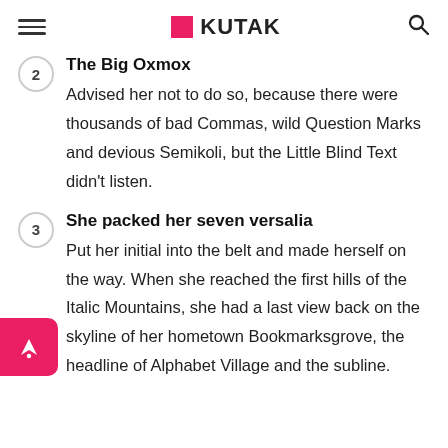KUTAK
2 The Big Oxmox — Advised her not to do so, because there were thousands of bad Commas, wild Question Marks and devious Semikoli, but the Little Blind Text didn't listen.
3 She packed her seven versalia — Put her initial into the belt and made herself on the way. When she reached the first hills of the Italic Mountains, she had a last view back on the skyline of her hometown Bookmarksgrove, the headline of Alphabet Village and the subline.